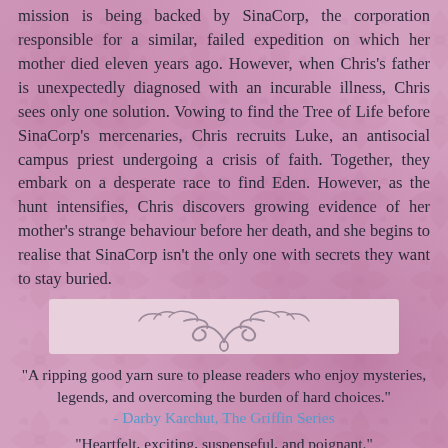mission is being backed by SinaCorp, the corporation responsible for a similar, failed expedition on which her mother died eleven years ago. However, when Chris's father is unexpectedly diagnosed with an incurable illness, Chris sees only one solution. Vowing to find the Tree of Life before SinaCorp's mercenaries, Chris recruits Luke, an antisocial campus priest undergoing a crisis of faith. Together, they embark on a desperate race to find Eden. However, as the hunt intensifies, Chris discovers growing evidence of her mother's strange behaviour before her death, and she begins to realise that SinaCorp isn't the only one with secrets they want to stay buried.
[Figure (illustration): Decorative ornamental divider with swirling flourish design in muted pinkish-white tones]
"A ripping good yarn sure to please readers who enjoy mysteries, legends, and overcoming the burden of hard choices."
- Darby Karchut, The Griffin Series
"Heartfelt, exciting, suspenseful, and poignant."
- The Book Adventures
"A witty adventure laced with sneak-attack humor, intrepid heroes, and dogged villains. As if Douglas Adams had written the DaVinci Code with a female lead who has the